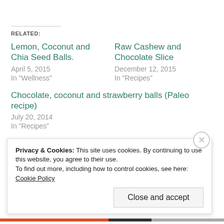RELATED:
Lemon, Coconut and Chia Seed Balls.
April 5, 2015
In "Wellness"
Raw Cashew and Chocolate Slice
December 12, 2015
In "Recipes"
Chocolate, coconut and strawberry balls (Paleo recipe)
July 20, 2014
In "Recipes"
Privacy & Cookies: This site uses cookies. By continuing to use this website, you agree to their use.
To find out more, including how to control cookies, see here: Cookie Policy
Close and accept